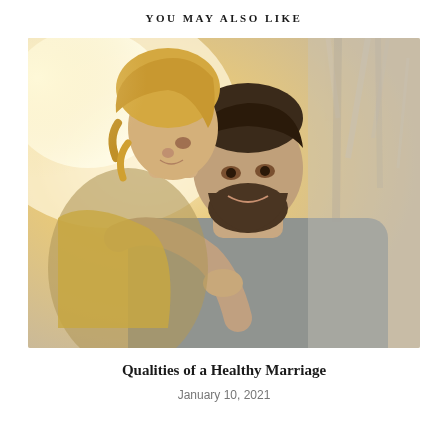YOU MAY ALSO LIKE
[Figure (photo): A couple embracing outdoors in warm sunlight. A woman with light curly hair rests her head near a bearded man's face, hugging him from behind. Both are smiling. The background shows blurred trees with soft golden bokeh lighting.]
Qualities of a Healthy Marriage
January 10, 2021